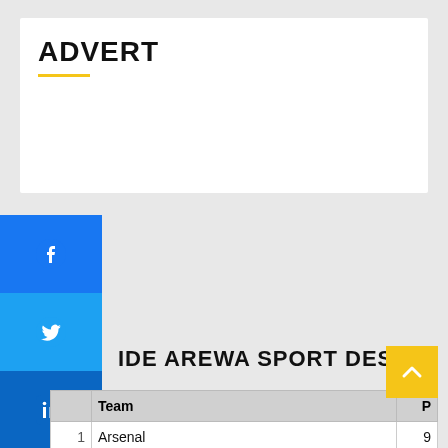ADVERT
[Figure (other): Social media share buttons sidebar: Facebook, Twitter, LinkedIn, plus icon]
IDE AREWA SPORT DESK
|  | Team | P |
| --- | --- | --- |
| 1 | Arsenal | 9 |
| 2 | Manchester City | 7 |
| 3 | Leeds United | 7 |
| 4 | Tottenham Hotspur | 7 |
| 5 | Brighton & Hov... | 7 |
| 6 | Newcastle United |  |
| 7 | Fulham |  |
| 8 | Brentford | 4 |
| 9 | Crystal Palace | 4 |